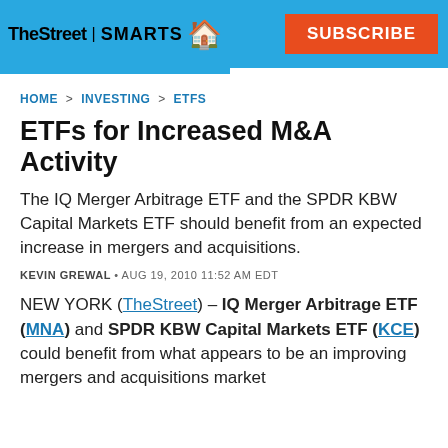TheStreet | SMARTS   SUBSCRIBE
HOME > INVESTING > ETFS
ETFs for Increased M&A Activity
The IQ Merger Arbitrage ETF and the SPDR KBW Capital Markets ETF should benefit from an expected increase in mergers and acquisitions.
KEVIN GREWAL • AUG 19, 2010 11:52 AM EDT
NEW YORK (TheStreet) – IQ Merger Arbitrage ETF (MNA) and SPDR KBW Capital Markets ETF (KCE) could benefit from what appears to be an improving mergers and acquisitions market